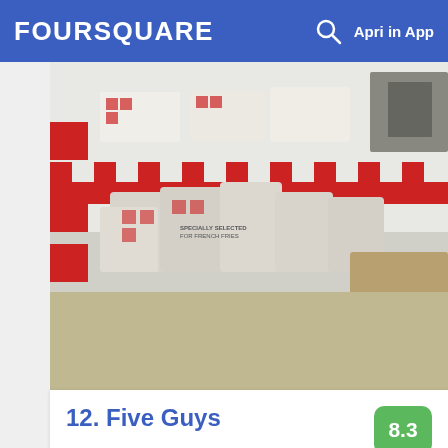FOURSQUARE   Apri in App
[Figure (photo): Interior of Five Guys restaurant showing bags of potatoes labeled 'Specially Selected for French Fries' stacked on the counter, with red and white checkered decor on the walls]
12. Five Guys
13440 SW 120th St., Bay 610, Miami, FL
Locale per hamburger · 18 consigli e recensioni
[Figure (photo): Close-up photo of french fries and a piece of grilled/roasted chicken on a plate]